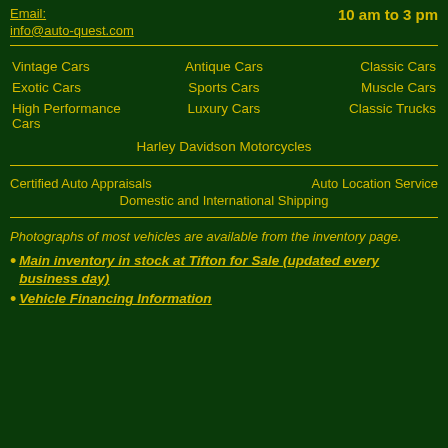Email:
info@auto-quest.com
10 am to 3 pm
Vintage Cars
Antique Cars
Classic Cars
Exotic Cars
Sports Cars
Muscle Cars
High Performance Cars
Luxury Cars
Classic Trucks
Harley Davidson Motorcycles
Certified Auto Appraisals
Auto Location Service
Domestic and International Shipping
Photographs of most vehicles are available from the inventory page.
Main inventory in stock at Tifton for Sale (updated every business day)
Vehicle Financing Information